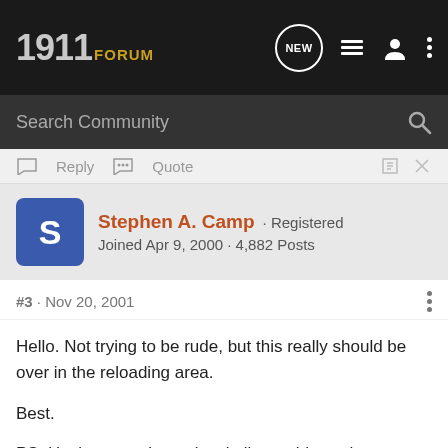1911FORUM
Search Community
Reply  Quote
Stephen A. Camp · Registered
Joined Apr 9, 2000 · 4,882 Posts
#3 · Nov 20, 2001
Hello. Not trying to be rude, but this really should be over in the reloading area.

Best.

PS: Having experienced a similar problem when casting for 9mm years ago, I had the bullets too hard and wound up with little "stalagtites" hanging in the bbl after but a few shots. Adding a bit more lead helped. However in .45ACP, neither of